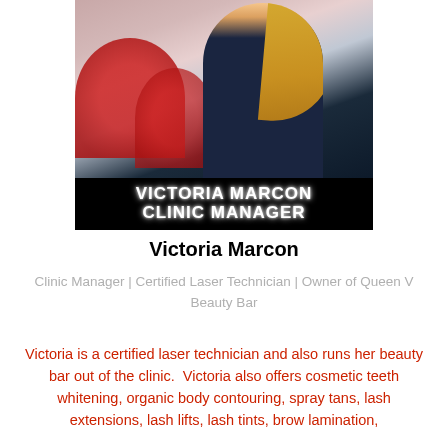[Figure (photo): Photo of Victoria Marcon in dark uniform with blonde hair, red chairs visible in background, with name overlay 'VICTORIA MARCON CLINIC MANAGER' in white bold text on black bar]
Victoria Marcon
Clinic Manager | Certified Laser Technician | Owner of Queen V Beauty Bar
Victoria is a certified laser technician and also runs her beauty bar out of the clinic.  Victoria also offers cosmetic teeth whitening, organic body contouring, spray tans, lash extensions, lash lifts, lash tints, brow lamination,